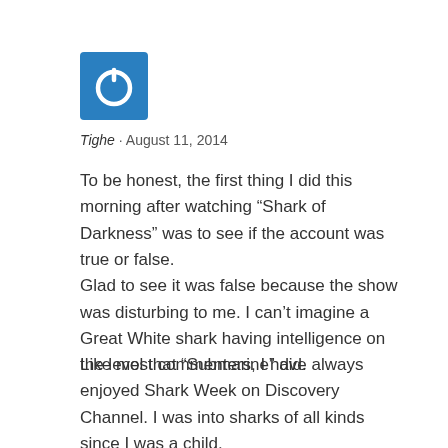[Figure (logo): Blue square icon with a white power/on symbol (circle with a line at top)]
Tighe · August 11, 2014
To be honest, the first thing I did this morning after watching “Shark of Darkness” was to see if the account was true or false.
Glad to see it was false because the show was disturbing to me. I can’t imagine a Great White shark having intelligence on the level that “Submarine” did.
Like most commenters, I have always enjoyed Shark Week on Discovery Channel. I was into sharks of all kinds since I was a child.